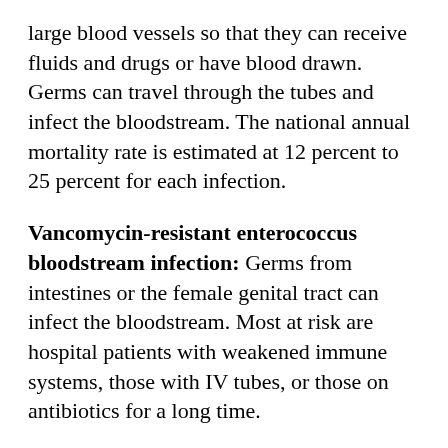large blood vessels so that they can receive fluids and drugs or have blood drawn. Germs can travel through the tubes and infect the bloodstream. The national annual mortality rate is estimated at 12 percent to 25 percent for each infection.
Vancomycin-resistant enterococcus bloodstream infection: Germs from intestines or the female genital tract can infect the bloodstream. Most at risk are hospital patients with weakened immune systems, those with IV tubes, or those on antibiotics for a long time.
Clostridium difficile infection: G...